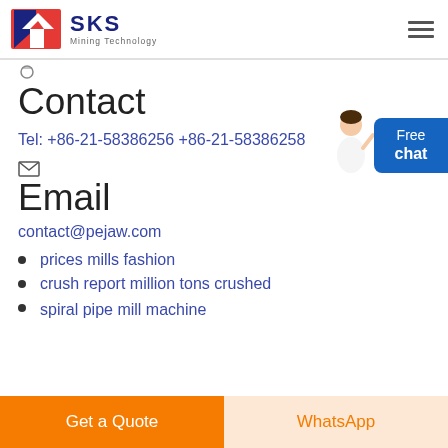SKS Mining Technology
Contact
Tel: +86-21-58386256 +86-21-58386258
Email
contact@pejaw.com
prices mills fashion
crush report million tons crushed
spiral pipe mill machine
Get a Quote
WhatsApp